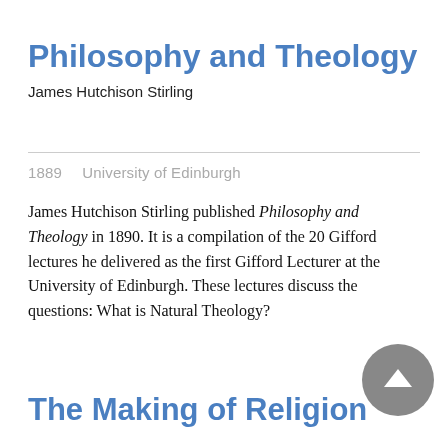Philosophy and Theology
James Hutchison Stirling
1889    University of Edinburgh
James Hutchison Stirling published Philosophy and Theology in 1890. It is a compilation of the 20 Gifford lectures he delivered as the first Gifford Lecturer at the University of Edinburgh. These lectures discuss the questions: What is Natural Theology?
The Making of Religion